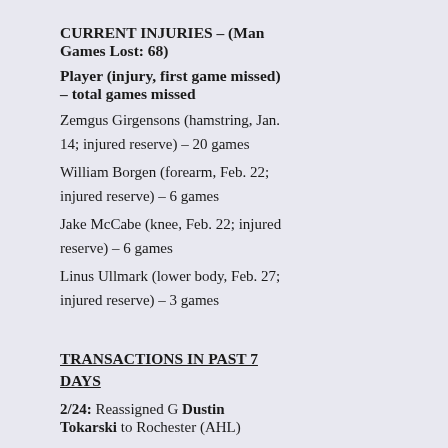CURRENT INJURIES – (Man Games Lost: 68)
Player (injury, first game missed) – total games missed
Zemgus Girgensons (hamstring, Jan. 14; injured reserve) – 20 games
William Borgen (forearm, Feb. 22; injured reserve) – 6 games
Jake McCabe (knee, Feb. 22; injured reserve) – 6 games
Linus Ullmark (lower body, Feb. 27; injured reserve) – 3 games
TRANSACTIONS IN PAST 7 DAYS
2/24: Reassigned G Dustin Tokarski to Rochester (AHL)
2/25: Reassigned G Dustin